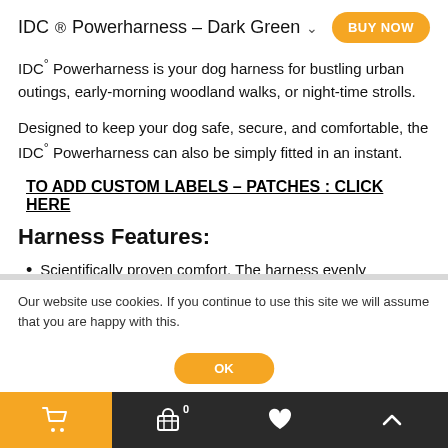IDC® Powerharness - Dark Green
IDC° Powerharness is your dog harness for bustling urban outings, early-morning woodland walks, or night-time strolls.
Designed to keep your dog safe, secure, and comfortable, the IDC° Powerharness can also be simply fitted in an instant.
TO ADD CUSTOM LABELS – PATCHES : CLICK HERE
Harness Features:
Scientifically proven comfort. The harness evenly distributes the power to the dog's chest instead of the
Our website use cookies. If you continue to use this site we will assume that you are happy with this.
Cart | Basket 0 | Wishlist | Top